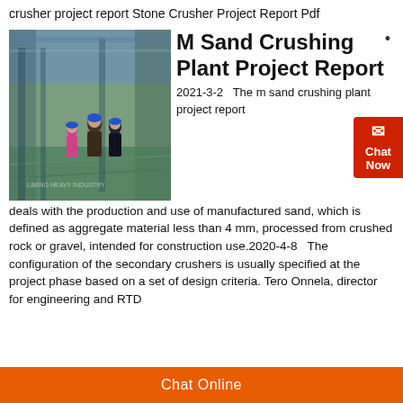crusher project report Stone Crusher Project Report Pdf
[Figure (photo): Workers in blue hard hats walking through an industrial manufacturing plant/heavy equipment facility. Liming Heavy Industry watermark visible.]
M Sand Crushing Plant Project Report
2021-3-2   The m sand crushing plant project report deals with the production and use of manufactured sand, which is defined as aggregate material less than 4 mm, processed from crushed rock or gravel, intended for construction use.2020-4-8   The configuration of the secondary crushers is usually specified at the project phase based on a set of design criteria. Tero Onnela, director for engineering and RTD
Chat Online